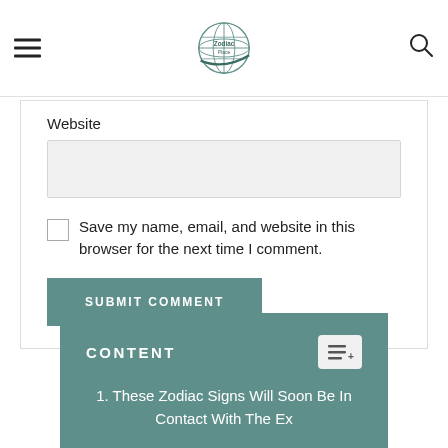[Logo: Zodiac/Astrology site with globe icon]
Website
Save my name, email, and website in this browser for the next time I comment.
SUBMIT COMMENT
CONTENT
1. These Zodiac Signs Will Soon Be In Contact With The Ex